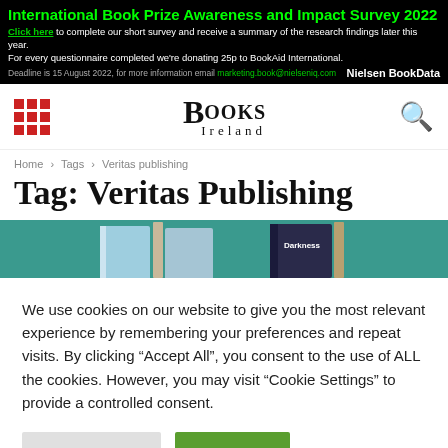International Book Prize Awareness and Impact Survey 2022. Click here to complete our short survey and receive a summary of the research findings later this year. For every questionnaire completed we're donating 25p to BookAid International. Deadline is 15 August 2022, for more information email marketing.book@nielseniq.com — Nielsen BookData
[Figure (logo): Books Ireland logo with navigation grid and search icon]
Home › Tags › Veritas publishing
Tag: Veritas Publishing
[Figure (photo): Partial book covers on teal/green background, including a dark cover with 'Darkness' text]
We use cookies on our website to give you the most relevant experience by remembering your preferences and repeat visits. By clicking "Accept All", you consent to the use of ALL the cookies. However, you may visit "Cookie Settings" to provide a controlled consent.